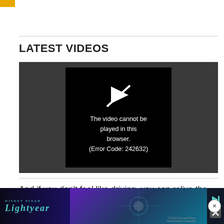LATEST VIDEOS
[Figure (screenshot): Video player showing error message: The video cannot be played in this browser. (Error Code: 242632)]
And if you don't feel like driving, you can relive the past a… train that d…
[Figure (screenshot): Lightyear Disney Pixar advertisement overlay at bottom of page with close button]